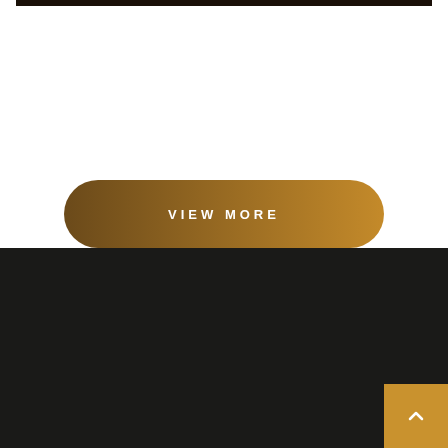[Figure (photo): Dark image strip at the top of the page, partially cropped]
VIEW MORE
WE LOVE LIGHTING THE IMPACT OF LIGHTING IS OFTEN SUBCONSCIOUS BUT ALWAYS POWERFUL. IT CAN BE ENERGIZING.